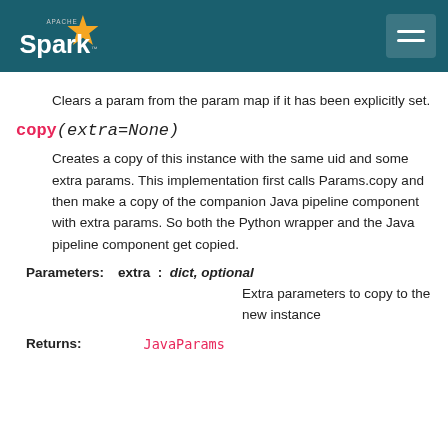Apache Spark
Clears a param from the param map if it has been explicitly set.
copy(extra=None)
Creates a copy of this instance with the same uid and some extra params. This implementation first calls Params.copy and then make a copy of the companion Java pipeline component with extra params. So both the Python wrapper and the Java pipeline component get copied.
Parameters: extra : dict, optional
Extra parameters to copy to the new instance
Returns: JavaParams